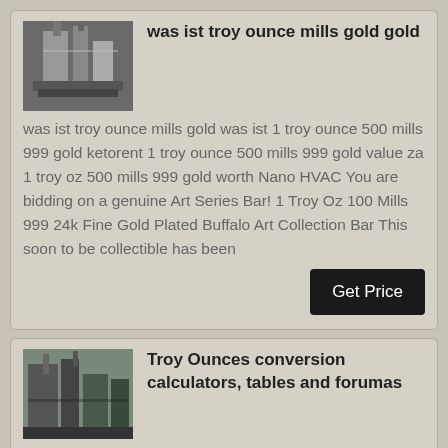was ist troy ounce mills gold gold
was ist troy ounce mills gold was ist 1 troy ounce 500 mills 999 gold ketorent 1 troy ounce 500 mills 999 gold value za 1 troy oz 500 mills 999 gold worth Nano HVAC You are bidding on a genuine Art Series Bar! 1 Troy Oz 100 Mills 999 24k Fine Gold Plated Buffalo Art Collection Bar This soon to be collectible has been
Troy Ounces conversion calculators, tables and forumas
Jul 22, 2018· Troy Ounc A unit of apothecary weight equal to 480 grains or one twelfth of a troy pound